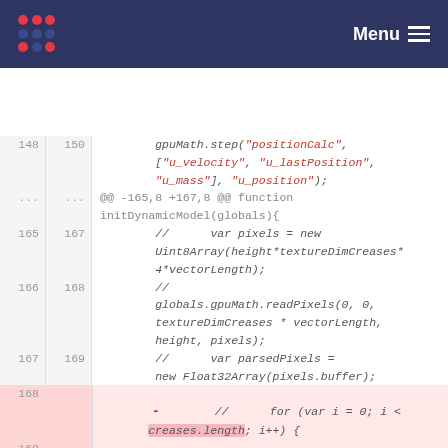Menu
148  150      gpuMath.step("positionCalc", ["u_velocity", "u_lastPosition", "u_mass"], "u_position");
...  ...  @@ -165,8 +167,8 @@ function initDynamicModel(globals){
165  167      //      var pixels = new Uint8Array(height*textureDimCreases*4*vectorLength);
166  168      //      globals.gpuMath.readPixels(0, 0, textureDimCreases * vectorLength, height, pixels);
167  169      //      var parsedPixels = new Float32Array(pixels.buffer);
168  -    //      for (var i = 0; i < creases.length; i++) {
169  -    //            //      console.log(parsedPixels[i])
170  +    //      for (var i = 0; i < 1; i++) {